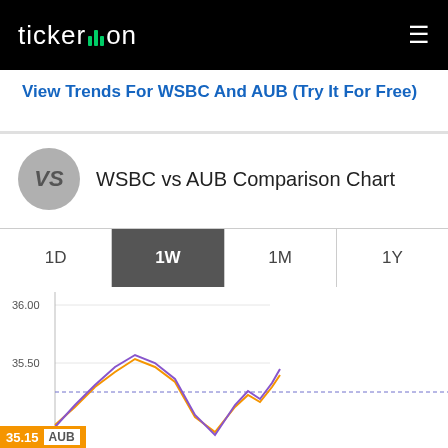ticker.on
View Trends For WSBC And AUB (Try It For Free)
WSBC vs AUB Comparison Chart
[Figure (line-chart): Line chart showing WSBC (purple) and AUB (orange) stock price comparison over 1W period. Y-axis shows values around 35.15 to 36.00. A dashed blue horizontal reference line is shown near 35.30. Both lines fluctuate with a peak near the middle, then rise toward the right side of the chart.]